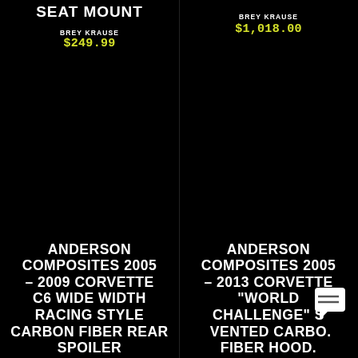SEAT MOUNT
BREY KRAUSE
$249.99
BREY KRAUSE
$1,018.00
ANDERSON COMPOSITES 2005 - 2009 CORVETTE C6 WIDE WIDTH RACING STYLE CARBON FIBER REAR SPOILER
ANDERSON COMPOSITES 2005 - 2013 CORVETTE "WORLD CHALLENGE" S VENTED CARBO. FIBER HOOD.